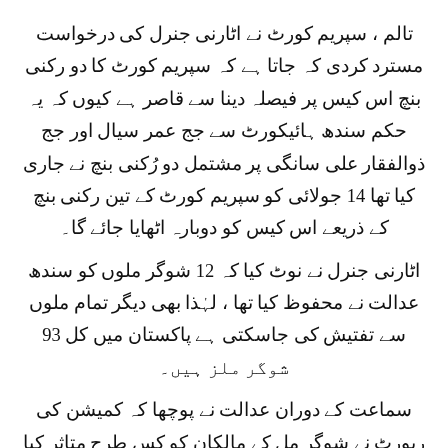تالم ، سپریم کورٹ نے اٹارنی جنرل کی درخواست مسترد کردی کہ جاتا ہے کہ سپریم کورٹ کا دو رکنی بنچ اس کیس پر فیصلہ دینا سے قاصر ہے کیوں کہ یہ حکم سندھ ہائیکورٹ سے جج عمر سیال اور جج ذوالفقار علی سانگی پر مشتمل دو رُکنی بنچ نے جاری کیا تھا 14 جولائی کو سپریم کورٹ کے تین رکنی بنچ کے ذریعے اس کیس کو دوبارہ اٹھایا جائے گا۔
اٹارنی جنرل نے نوٹ کیا کہ 12 شوگر ملوں کو سندھ عدالت نے محفوظ کیا تھا ، لہٰذا بھی دیگر تمام ملوں سے تفتیش کی جاسکتی ہے پاکستان میں کل 93 شوگر ملز ہیں۔
سماعت کے دوران عدالت نے پوچھا کہ کمیشن کی رپورٹ نے شوگر مل کے مالکان کو کس طرح متاثر کیا گا "کیا آپ رپورٹ کو کالعدم